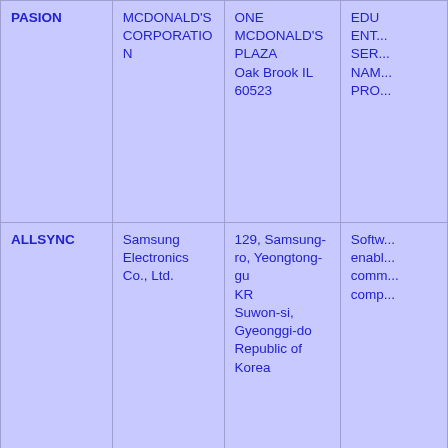| Mark | Owner Name | Owner Address | Description |
| --- | --- | --- | --- |
| PASION | MCDONALD'S CORPORATION | ONE MCDONALD'S PLAZA
Oak Brook IL 60523 | EDU...
ENT...
SER...
NAM...
PRO... |
| ALLSYNC | Samsung Electronics Co., Ltd. | 129, Samsung-ro, Yeongtong-gu
KR
Suwon-si, Gyeonggi-do
Republic of Korea | Soft...
enab...
com...
comp... |
| ALMIRES | ALMIRES trgovina z glasbenimi; instrumenti d.o.o. | Rakovniska ulica 7SI
Slovenia | Arra...
cond...
musi... |
| ALOHA WEEK | ALOHA WEEK HAWAII, INCORPORATED | 2250 KALAKAUA AVE #315
Honolulu HI 96815 | Orga...
cond...
Hawa...
Hawa... |
| ALTERED STAGE | Rock Club... | 720 W. Randolph... | Edu... |